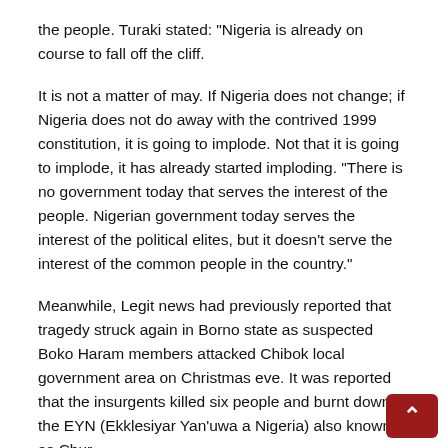the people. Turaki stated: "Nigeria is already on course to fall off the cliff.
It is not a matter of may. If Nigeria does not change; if Nigeria does not do away with the contrived 1999 constitution, it is going to implode. Not that it is going to implode, it has already started imploding. "There is no government today that serves the interest of the people. Nigerian government today serves the interest of the political elites, but it doesn’t serve the interest of the common people in the country."
Meanwhile, Legit news had previously reported that tragedy struck again in Borno state as suspected Boko Haram members attacked Chibok local government area on Christmas eve. It was reported that the insurgents killed six people and burnt down the EYN (Ekklesiyar Yan’uwa a Nigeria) also known as Chur